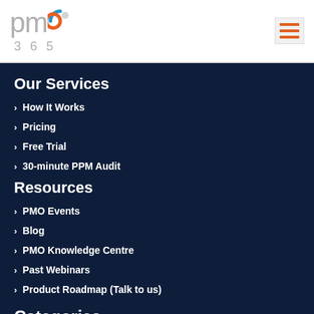[Figure (logo): PMO 365 logo with orange and blue swirl icon and grey text]
Our Services
How It Works
Pricing
Free Trial
30-minute PPM Audit
Resources
PMO Events
Blog
PMO Knowledge Centre
Past Webinars
Product Roadmap (Talk to us)
Categories
Project Management Office
Project Portfolio Management
EPMO